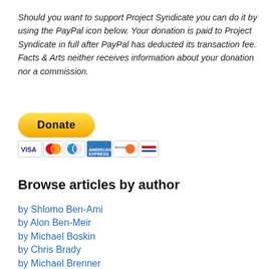Should you want to support Project Syndicate you can do it by using the PayPal icon below. Your donation is paid to Project Syndicate in full after PayPal has deducted its transaction fee. Facts & Arts neither receives information about your donation nor a commission.
[Figure (other): PayPal Donate button with yellow rounded rectangle and bold 'Donate' text, below which are credit card icons: VISA, Mastercard (two circles), American Express, Discover, and one more card logo.]
Browse articles by author
by Shlomo Ben-Ami
by Alon Ben-Meir
by Michael Boskin
by Chris Brady
by Michael Brenner